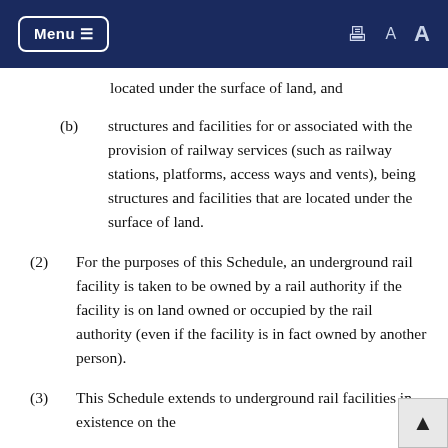Menu  [print] A A
located under the surface of land, and
(b) structures and facilities for or associated with the provision of railway services (such as railway stations, platforms, access ways and vents), being structures and facilities that are located under the surface of land.
(2) For the purposes of this Schedule, an underground rail facility is taken to be owned by a rail authority if the facility is on land owned or occupied by the rail authority (even if the facility is in fact owned by another person).
(3) This Schedule extends to underground rail facilities in existence on the